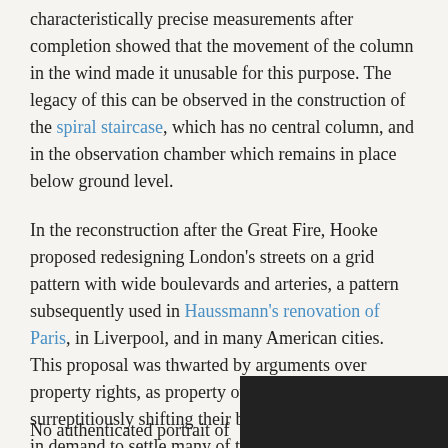characteristically precise measurements after completion showed that the movement of the column in the wind made it unusable for this purpose. The legacy of this can be observed in the construction of the spiral staircase, which has no central column, and in the observation chamber which remains in place below ground level.
In the reconstruction after the Great Fire, Hooke proposed redesigning London's streets on a grid pattern with wide boulevards and arteries, a pattern subsequently used in Haussmann's renovation of Paris, in Liverpool, and in many American cities. This proposal was thwarted by arguments over property rights, as property owners were surreptitiously shifting their boundaries. Hooke was in demand to settle many of these disputes, due to his competence as a surveyor and his tact as an arbitrator.
Likenesses
No authenticated portrait of
[Figure (photo): A dark image, appears to be a portrait photo, partially visible at bottom right of page.]